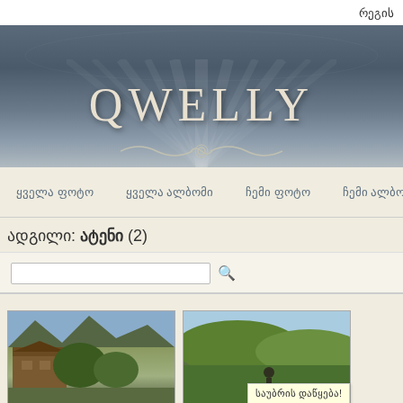რეგის
[Figure (logo): QWELLY website banner with dark blue-grey gradient background, decorative floral patterns, ornamental divider, and the title QWELLY in large serif white letters]
ყველა ფოტო   ყველა ალბომი   ჩემი ფოტო   ჩემი ალბომები
ადგილი: ატენი (2)
[Figure (screenshot): Search input field with magnifying glass icon]
[Figure (photo): Two photo thumbnails side by side showing scenic Georgian landscapes. Second photo has a tooltip overlay reading საუბრის დაწყება!]